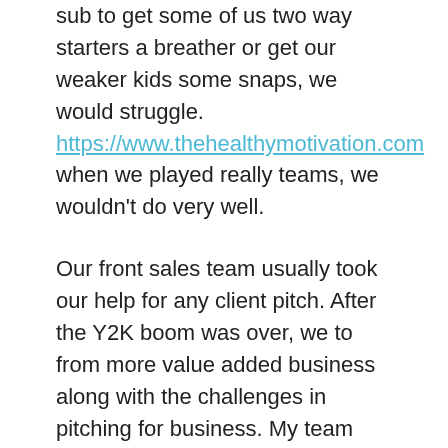sub to get some of us two way starters a breather or get our weaker kids some snaps, we would struggle. https://www.thehealthymotivation.com when we played really teams, we wouldn't do very well.
Our front sales team usually took our help for any client pitch. After the Y2K boom was over, we to from more value added business along with the challenges in pitching for business. My team evolved a unique style of client event. We decided that every client pitch could well tailor-made on the client. We pitched for one health insurance client from Kansas City, Missouri. My team studied everything required about metropolis and california. When the client walked in to your conference room we welcomed him with Count Basie's jazz music; the walls had posters featuring tourist spots in Kansas City; the flower vase any Blue Iris sticking out; and, most interestingly there was posters of famous players from Gambling Football news teams.